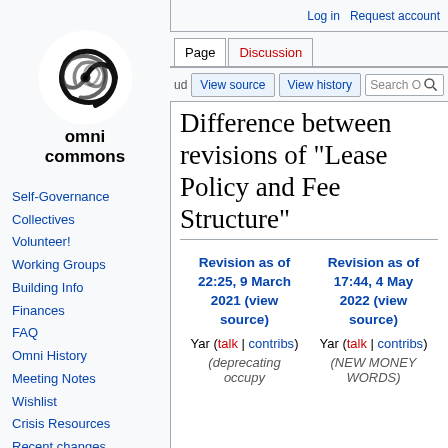Log in  Request account
[Figure (logo): Omni Commons logo: black spiral galaxy on white background]
omni commons
Self-Governance
Collectives
Volunteer!
Working Groups
Building Info
Finances
FAQ
Omni History
Meeting Notes
Wishlist
Crisis Resources
Recent changes
wiki help
DONATE
Difference between revisions of "Lease Policy and Fee Structure"
| Revision as of 22:25, 9 March 2021 (view source) | Revision as of 17:44, 4 May 2022 (view source) |
| --- | --- |
| Yar (talk | contribs) | Yar (talk | contribs) |
| (deprecating occupy | (NEW MONEY WORDS) |